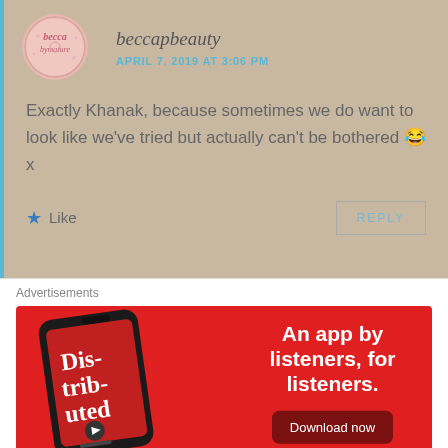beccapbeauty
APRIL 7, 2019 AT 3:06 PM
Exactly Khanak, because sometimes we do want to look like we've tried but actually can't be bothered 😂 x
Like
REPLY
Advertisements
[Figure (infographic): Advertisement banner for a podcast/audio app on red background. Shows a smartphone displaying 'Dis-tri-buted' podcast. Text reads 'An app by listeners, for listeners.' with a 'Download now' button.]